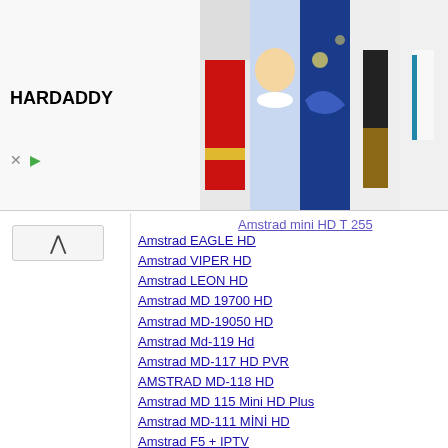[Figure (other): Advertisement banner for HARDADDY clothing brand showing colorful shirts and hoodies]
Amstrad mini HD T 255 (partial, top cut off)
Amstrad EAGLE HD
Amstrad VIPER HD
Amstrad LEON HD
Amstrad MD 19700 HD
Amstrad MD-19050 HD
Amstrad Md-119 Hd
Amstrad MD-117 HD PVR
AMSTRAD MD-118 HD
Amstrad MD 115 Mini HD Plus
Amstrad MD-111 MİNİ HD
Amstrad F5 + IPTV
Amstrad 200S
Amstrad T2-H264 (7200)
Amstrad T2-H265
Amstrad Kanal Listeleri
Atlanta
ATLANTA SD
Atlanta 500s
Atlanta Fun Box
Atlanta MDR Serisi
Atlanta ADR 900 Serisi
Atlanta 1500s - 2007s